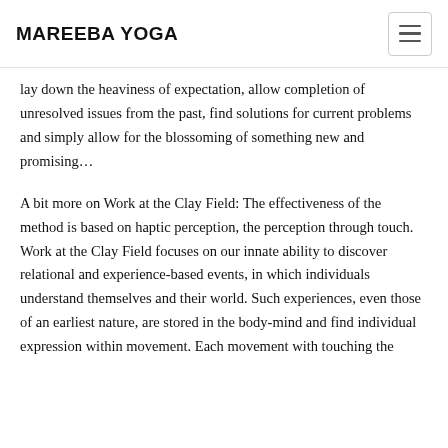MAREEBA YOGA
lay down the heaviness of expectation, allow completion of unresolved issues from the past, find solutions for current problems and simply allow for the blossoming of something new and promising…
A bit more on Work at the Clay Field: The effectiveness of the method is based on haptic perception, the perception through touch. Work at the Clay Field focuses on our innate ability to discover relational and experience-based events, in which individuals understand themselves and their world. Such experiences, even those of an earliest nature, are stored in the body-mind and find individual expression within movement. Each movement with touching the